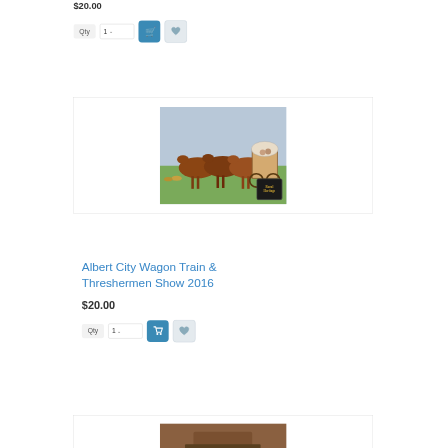$20.00
[Figure (screenshot): Qty selector with '1' dropdown, blue shopping cart button, and grey heart/wishlist button]
[Figure (photo): Photo of horses pulling a covered wagon in a field, with a Rural Heritage TV logo badge in the bottom right corner]
Albert City Wagon Train & Threshermen Show 2016
$20.00
[Figure (screenshot): Qty selector with '1' dropdown, blue shopping cart button, and grey heart/wishlist button]
[Figure (photo): Partial photo at bottom showing hands on machinery]